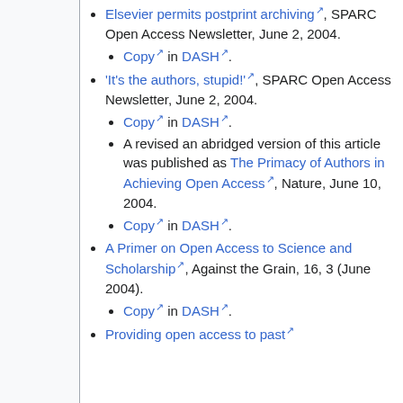Elsevier permits postprint archiving, SPARC Open Access Newsletter, June 2, 2004.
Copy in DASH.
'It's the authors, stupid!', SPARC Open Access Newsletter, June 2, 2004.
Copy in DASH.
A revised an abridged version of this article was published as The Primacy of Authors in Achieving Open Access, Nature, June 10, 2004.
Copy in DASH.
A Primer on Open Access to Science and Scholarship, Against the Grain, 16, 3 (June 2004).
Copy in DASH.
Providing open access to past...